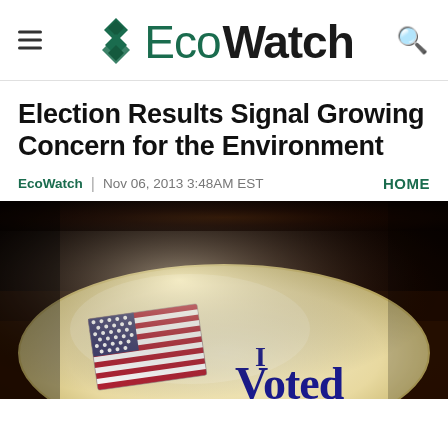EcoWatch
Election Results Signal Growing Concern for the Environment
EcoWatch | Nov 06, 2013 3:48AM EST
HOME
[Figure (photo): An 'I Voted' sticker with an American flag graphic, photographed up close with a dark background and warm lighting.]